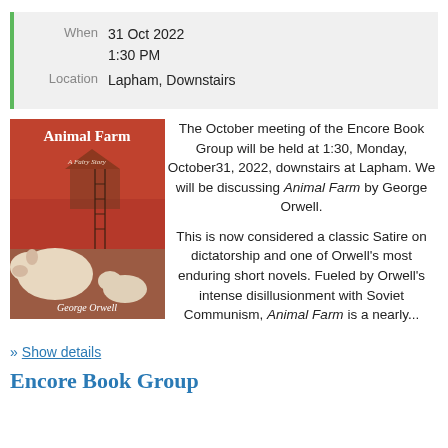| Label | Value |
| --- | --- |
| When | 31 Oct 2022
1:30 PM |
| Location | Lapham, Downstairs |
[Figure (illustration): Book cover of Animal Farm by George Orwell showing pigs in a farm setting with a rusty-red/orange background. Title 'Animal Farm' in white serif font, subtitle 'A Fairy Story', author name 'George Orwell' at the bottom.]
The October meeting of the Encore Book Group will be held at 1:30, Monday, October31, 2022, downstairs at Lapham. We will be discussing Animal Farm by George Orwell.

This is now considered a classic Satire on dictatorship and one of Orwell's most enduring short novels. Fueled by Orwell's intense disillusionment with Soviet Communism, Animal Farm is a nearly...
>> Show details
Encore Book Group